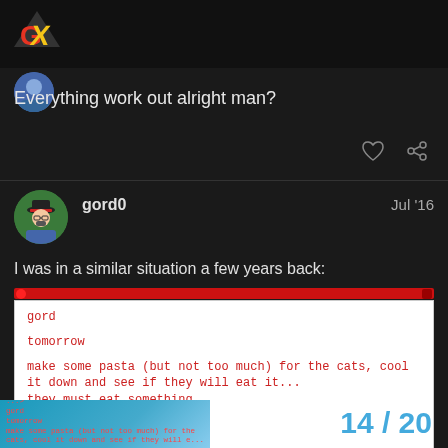GX logo
Everything work out alright man?
gord0   Jul '16
I was in a similar situation a few years back:
[Figure (screenshot): A white transcript box with red monospace text showing a message: gord / tomorrow / make some pasta (but not too much) for the cats, cool it down and see if they will eat it... they must eat something. / please do not forget / thank you / find something to feed the cats...]
14 / 20